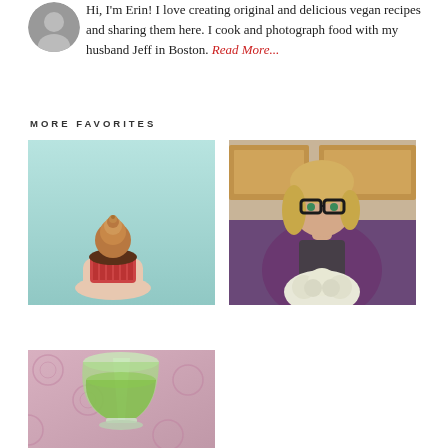[Figure (photo): Small circular avatar photo of a person (partially visible at top left)]
Hi, I'm Erin! I love creating original and delicious vegan recipes and sharing them here. I cook and photograph food with my husband Jeff in Boston. Read More...
MORE FAVORITES
[Figure (photo): Photo of a hand holding a chocolate cupcake with peanut butter frosting against a light teal background]
[Figure (photo): Photo of a woman with glasses wearing a purple shirt and apron, holding a cauliflower head in a kitchen]
[Figure (photo): Photo of a green smoothie or drink in a wine glass on a pink patterned surface]